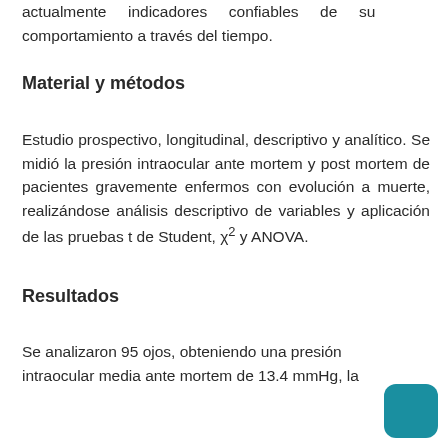actualmente indicadores confiables de su comportamiento a través del tiempo.
Material y métodos
Estudio prospectivo, longitudinal, descriptivo y analítico. Se midió la presión intraocular ante mortem y post mortem de pacientes gravemente enfermos con evolución a muerte, realizándose análisis descriptivo de variables y aplicación de las pruebas t de Student, χ² y ANOVA.
Resultados
Se analizaron 95 ojos, obteniendo una presión intraocular media ante mortem de 13.4 mmHg, la